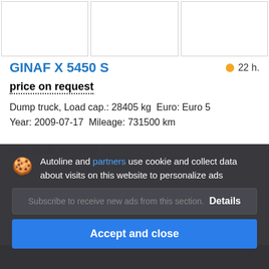[Figure (photo): Three vehicle image thumbnails (empty/white boxes with borders) in a horizontal strip at the top]
GINAF X 5450 S
22 h.
price on request
Dump truck, Load cap.: 28405 kg  Euro: Euro 5
Year: 2009-07-17  Mileage: 731500 km
Netherlands, Barneveld
Autoline and partners use cookie and collect data about visits on this website to personalize ads
Details
Accept and close